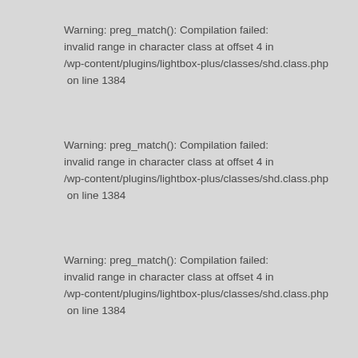Warning: preg_match(): Compilation failed: invalid range in character class at offset 4 in /wp-content/plugins/lightbox-plus/classes/shd.class.php on line 1384
Warning: preg_match(): Compilation failed: invalid range in character class at offset 4 in /wp-content/plugins/lightbox-plus/classes/shd.class.php on line 1384
Warning: preg_match(): Compilation failed: invalid range in character class at offset 4 in /wp-content/plugins/lightbox-plus/classes/shd.class.php on line 1384